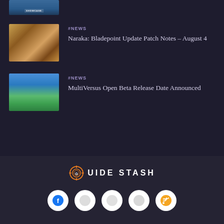[Figure (screenshot): Partial thumbnail of a gaming showcase image at top]
[Figure (screenshot): Thumbnail for Naraka: Bladepoint news article showing desert combat scene]
#NEWS
Naraka: Bladepoint Update Patch Notes – August 4
[Figure (screenshot): Thumbnail for MultiVersus news article showing characters on platform stage]
#NEWS
MultiVersus Open Beta Release Date Announced
[Figure (logo): Guide Stash logo with targeting reticle icon]
[Figure (infographic): Social media icons row: Facebook, and four other circle icons including RSS feed]